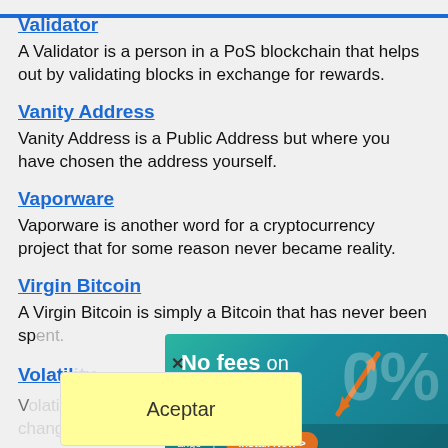Validator
A Validator is a person in a PoS blockchain that helps out by validating blocks in exchange for rewards.
Vanity Address
Vanity Address is a Public Address but where you have chosen the address yourself.
Vaporware
Vaporware is another word for a cryptocurrency project that for some reason never became reality.
Virgin Bitcoin
A Virgin Bitcoin is simply a Bitcoin that has never been sp...
Volatil...
V...ange...w much t...to
[Figure (infographic): Advertisement overlay: teal/green gradient background with 'No fees on' in white bold text, large '0%' watermark, orange double-headed arrows graphic, orange 'Install Now >' button, and bottom bar with partial text 'ange']
[Figure (infographic): Cookie consent / accept dialog: yellow box with 'Aceptar' text, positioned over the lower-left content area]